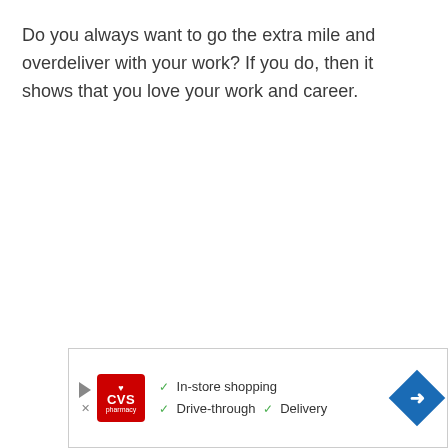Do you always want to go the extra mile and overdeliver with your work? If you do, then it shows that you love your work and career.
[Figure (other): CVS Pharmacy advertisement banner showing CVS logo, checkmarks for In-store shopping, Drive-through, and Delivery services, and a navigation arrow icon.]